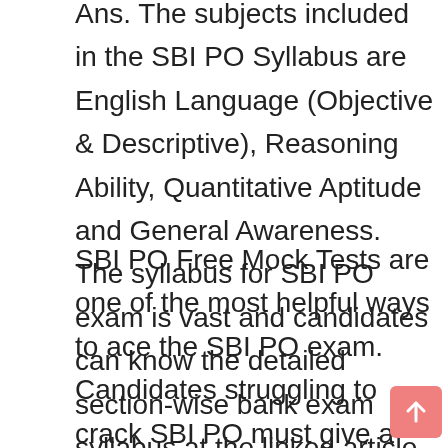Ans. The subjects included in the SBI PO Syllabus are English Language (Objective & Descriptive), Reasoning Ability, Quantitative Aptitude and General Awareness. The syllabus for SBI PO exam is vast and candidates can know the detailed section-wise bank exam syllabus at the linked article.
SBI PO Free Mock Tests are one of the most helpful ways to ace the SBI PO exam. Candidates struggling to crack SBI PO must give a final touch up to their exam preparation by taking SBI PO Mock Tests. For better results in the upcoming SBI exam 2021, candidates must solve the Free SBI PO Online Test Series and